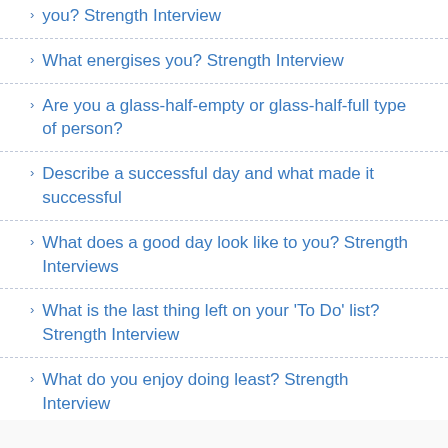you? Strength Interview
What energises you? Strength Interview
Are you a glass-half-empty or glass-half-full type of person?
Describe a successful day and what made it successful
What does a good day look like to you? Strength Interviews
What is the last thing left on your 'To Do' list? Strength Interview
What do you enjoy doing least? Strength Interview